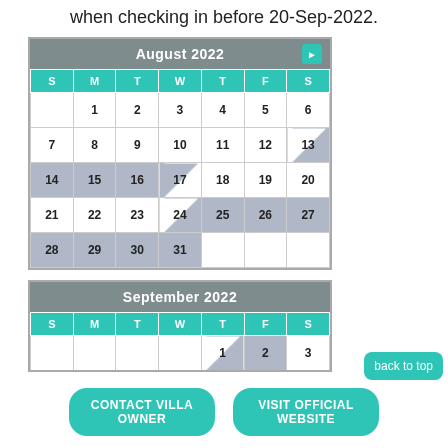when checking in before 20-Sep-2022.
[Figure (other): Calendar for August 2022 showing availability. Header is grey with 'August 2022' and a teal right-arrow button. Days header row is teal with S M T W T F S. Dates 1-6 in row 1, 7-13 in row 2 (13 has blue-diagonal), 14-20 in row 3 (14-17 blue, 17 diagonal, 18-20 white), 21-27 in row 4 (21-23 white, 24 diagonal, 25-27 teal/blue), 28-31 in row 5 (28-31 blue).]
[Figure (other): Calendar for September 2022 (partially visible). Header grey with 'September 2022'. Days S M T W T F S in teal. Only partial first row visible showing 1, 2, 3.]
back to top
CONTACT VILLA OWNER
VISIT OFFICIAL WEBSITE